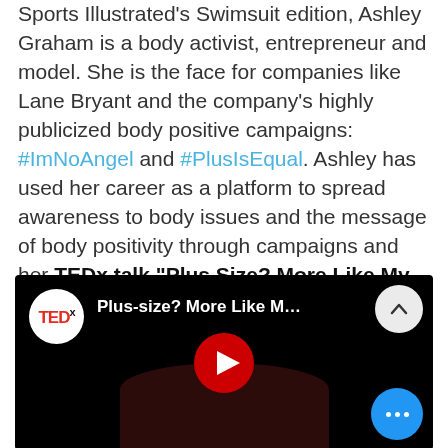Sports Illustrated's Swimsuit edition, Ashley Graham is a body activist, entrepreneur and model. She is the face for companies like Lane Bryant and the company's highly publicized body positive campaigns: #ImNoAngel and #PlusIsEqual. Ashley has used her career as a platform to spread awareness to body issues and the message of body positivity through campaigns and her TEDx talk "Plus Size? More Like My Size".(video below)
[Figure (screenshot): Embedded YouTube video thumbnail showing a TEDx talk titled 'Plus-size? More Like M...' with a TED logo, YouTube play button, an up-arrow button, and a three-dot menu button on a dark background with a person silhouette.]